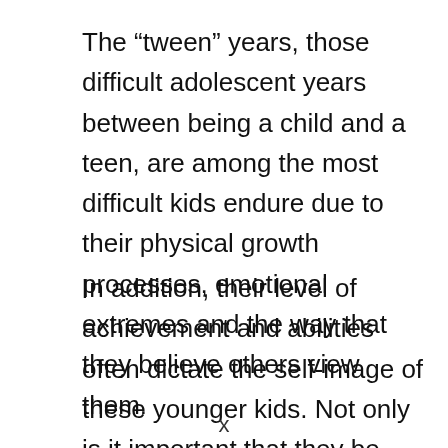The “tween” years, those difficult adolescent years between being a child and a teen, are among the most difficult kids endure due to their physical growth processes, emotional extremes and the way that they believe others view them.
In addition, their level of achievement and abilities often dictate the self-image of these younger kids. Not only is it important that they be allowed to try and fail, but also that
x